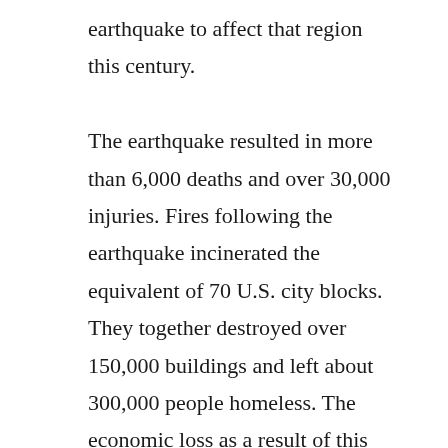earthquake to affect that region this century. The earthquake resulted in more than 6,000 deaths and over 30,000 injuries. Fires following the earthquake incinerated the equivalent of 70 U.S. city blocks. They together destroyed over 150,000 buildings and left about 300,000 people homeless. The economic loss as a result of this earthquake is estimated to reach $200 billion.
Business Website Address  Earthquake Effects in Kobe, Japan
Business Tags  Earthquakes, Seismology